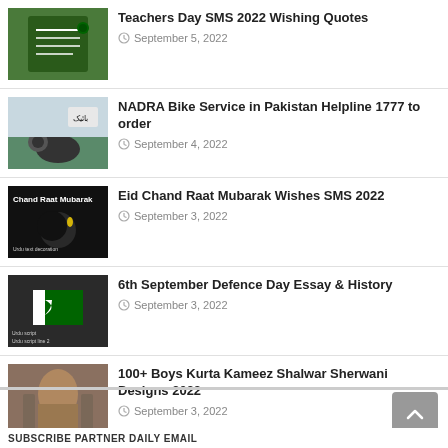Teachers Day SMS 2022 Wishing Quotes — September 5, 2022
NADRA Bike Service in Pakistan Helpline 1777 to order — September 4, 2022
Eid Chand Raat Mubarak Wishes SMS 2022 — September 3, 2022
6th September Defence Day Essay & History — September 3, 2022
100+ Boys Kurta Kameez Shalwar Sherwani Designs 2022 — September 3, 2022
SUBSCRIBE PARTNER DAILY EMAIL